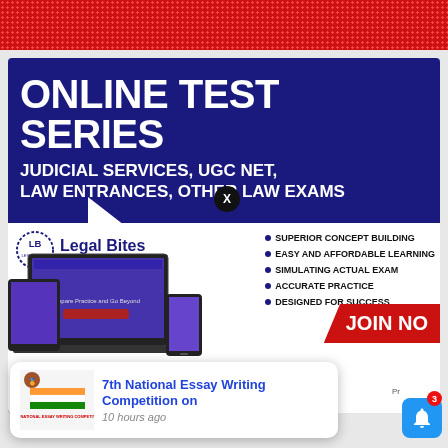[Figure (infographic): Red dotted banner at top of page]
[Figure (infographic): Online Test Series advertisement for Legal Bites Academy showing dark blue banner with white bold text 'ONLINE TEST SERIES', subtitle 'JUDICIAL SERVICES, UGC NET, LAW ENTRANCES, OTHER LAW EXAMS', Legal Bites Academy logo, device mockups, and bullet list of features: SUPERIOR CONCEPT BUILDING, EASY AND AFFORDABLE LEARNING, SIMULATING ACTUAL EXAM, ACCURATE PRACTICE, DESIGNED FOR SUCCESS]
7th National Essay Writing Competition on
10 hours ago
https://legalbites.org/